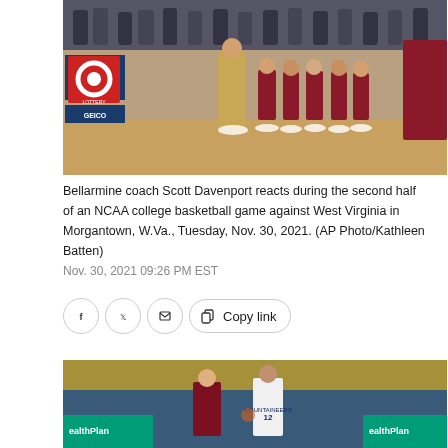[Figure (photo): Basketball game photo showing Bellarmine coach Scott Davenport and players on the bench, with GEICO and West Virginia Lottery signage visible in the background. Players in maroon and gray uniforms are seated on the bench.]
Bellarmine coach Scott Davenport reacts during the second half of an NCAA college basketball game against West Virginia in Morgantown, W.Va., Tuesday, Nov. 30, 2021. (AP Photo/Kathleen Batten)
Nov. 30, 2021 09:26 PM EST
[Figure (photo): Basketball game action photo showing a West Virginia player in white Mountaineers uniform dribbling against a Bellarmine player in maroon uniform. HealthPlan signage visible in background with yellow-clad fans.]